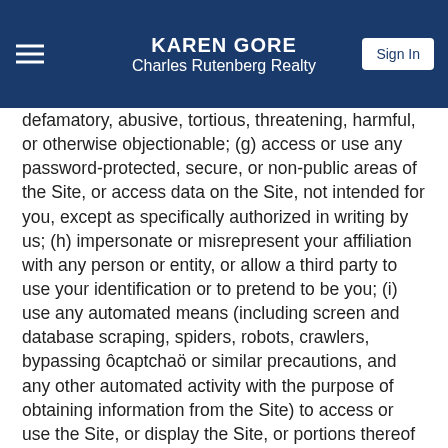KAREN GORE
Charles Rutenberg Realty
defamatory, abusive, tortious, threatening, harmful, or otherwise objectionable; (g) access or use any password-protected, secure, or non-public areas of the Site, or access data on the Site, not intended for you, except as specifically authorized in writing by us; (h) impersonate or misrepresent your affiliation with any person or entity, or allow a third party to use your identification or to pretend to be you; (i) use any automated means (including screen and database scraping, spiders, robots, crawlers, bypassing ôcaptchaö or similar precautions, and any other automated activity with the purpose of obtaining information from the Site) to access or use the Site, or display the Site, or portions thereof (e.g., deep linking, framing, scraping, etc.), without our express written permission; (j) attempt to or actually disrupt, impair, or interfere with the Site, or any information, data, or materials posted or displayed by us; (k) attempt to probe, scan, or test the vulnerability of the Site or